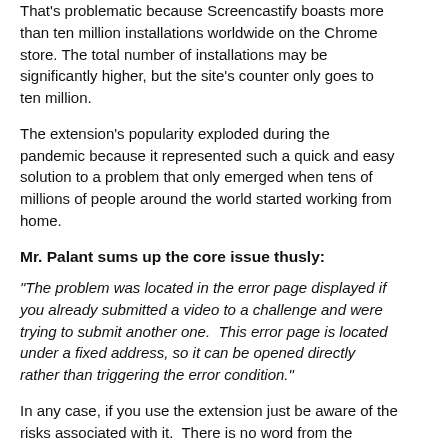That's problematic because Screencastify boasts more than ten million installations worldwide on the Chrome store. The total number of installations may be significantly higher, but the site's counter only goes to ten million.
The extension's popularity exploded during the pandemic because it represented such a quick and easy solution to a problem that only emerged when tens of millions of people around the world started working from home.
Mr. Palant sums up the core issue thusly:
"The problem was located in the error page displayed if you already submitted a video to a challenge and were trying to submit another one.  This error page is located under a fixed address, so it can be opened directly rather than triggering the error condition."
In any case, if you use the extension just be aware of the risks associated with it.  There is no word from the vendor on if or when another fix might be coming.
Used with permission from Article Aggregator